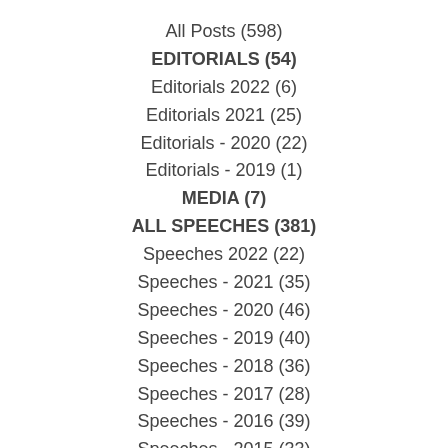All Posts (598)
EDITORIALS (54)
Editorials 2022 (6)
Editorials 2021 (25)
Editorials - 2020 (22)
Editorials - 2019 (1)
MEDIA (7)
ALL SPEECHES (381)
Speeches 2022 (22)
Speeches - 2021 (35)
Speeches - 2020 (46)
Speeches - 2019 (40)
Speeches - 2018 (36)
Speeches - 2017 (28)
Speeches - 2016 (39)
Speeches - 2015 (33)
Speeches - 2014 (23)
Speeches - 2013 (24)